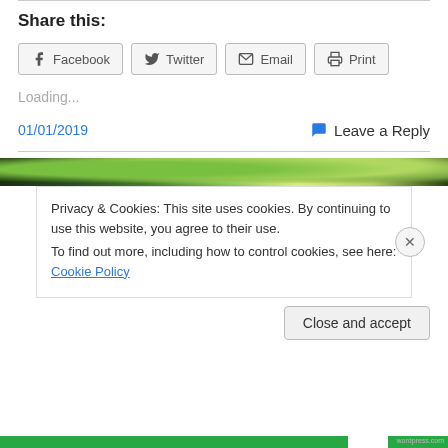Share this:
[Figure (screenshot): Share buttons: Facebook, Twitter, Email, Print]
Loading...
01/01/2019
Leave a Reply
[Figure (photo): Narrow strip of outdoor nature photo]
Privacy & Cookies: This site uses cookies. By continuing to use this website, you agree to their use.
To find out more, including how to control cookies, see here: Cookie Policy
Close and accept